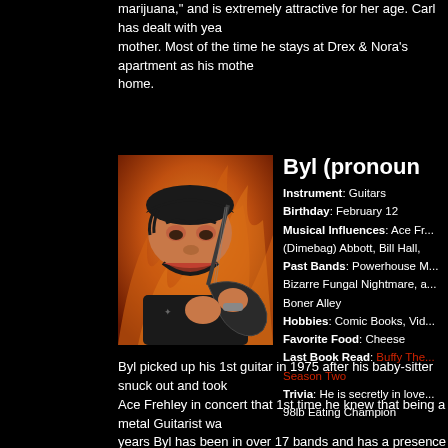marijuana," and is extremely attractive for her age. Carl has dealt with years of neglect from his mother. Most of the time he stays at Drex & Nora's apartment as his mother is rarely home.
[Figure (photo): A Muppet-like puppet character playing an electric guitar against a fiery orange background]
Byl (pronounced...)
Instrument: Guitars
Birthday: February 12
Musical Influences: Ace Fr... (Dimebag) Abbott, Bill Hall,
Past Bands: Powerhouse M... Bizarre Fungal Nightmare, a... Boner Alley
Hobbies: Comic Books, Vid...
Favorite Food: Cheese
Last Book Read: Buffy The... Season Two
Trivia: He is secretly in love... 98lb Eating Champion
Byl picked up his 1st guitar in 1975 after his baby-sitter snuck out and took... Ace Frehley in concert that 1st time he knew that being a metal Guitarist wa... years Byl has been in over 17 bands and has a presence on over 25 album...